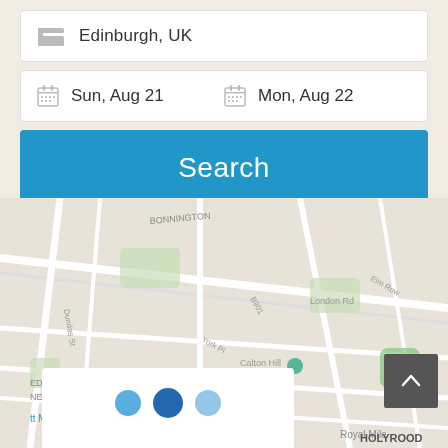[Figure (screenshot): Mobile app hotel search UI with Edinburgh, UK location input, date fields showing Sun, Aug 21 and Mon, Aug 22, a blue Search button, and a map of Edinburgh below with a bottom card showing pagination dots]
Edinburgh, UK
Sun, Aug 21
Mon, Aug 22
Search